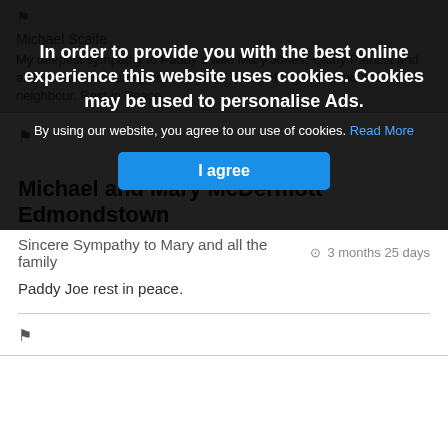In order to provide you with the best online experience this website uses cookies. Cookies may be used to personalise Ads.
By using our website, you agree to our use of cookies. Read More
I agree
Michael Scaife
My deepest sympathy to Paddy s wife Mary Jones, Cathy Patricia and all the extended family on a very sad death of a good friend and neighbour. Rest in Peace.
Michael and Mary McDermott Edmondstown
Sincere Sympathy to Mary and all the family
3 months 25 days
Paddy Joe rest in peace.